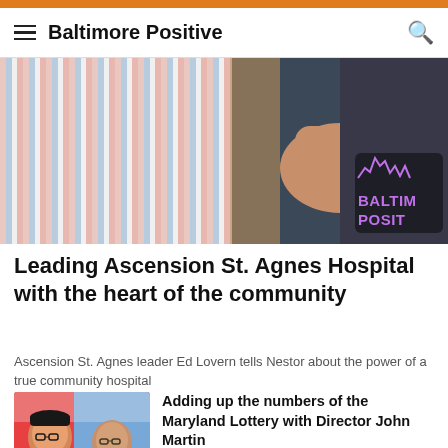Baltimore Positive
[Figure (photo): Photo of two people at a podcast/radio setting, one wearing a striped shirt, another in a dark shirt with Baltimore Positive logo, partial view]
Leading Ascension St. Agnes Hospital with the heart of the community
Ascension St. Agnes leader Ed Lovern tells Nestor about the power of a true community hospital
[Figure (photo): Thumbnail photo of two men at a podcast setup, one wearing headphones and a Baltimore Positive shirt]
Adding up the numbers of the Maryland Lottery with Director John Martin
[Figure (photo): Thumbnail photo of three men in what appears to be a restaurant or café setting]
Finding kindness, pie and crab cakes in Salisbury